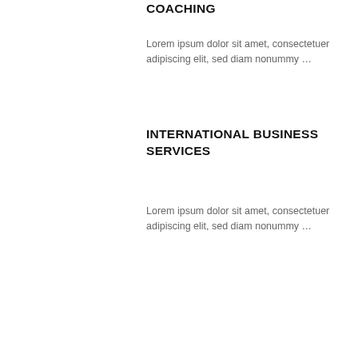COACHING
Lorem ipsum dolor sit amet, consectetuer adipiscing elit, sed diam nonummy …
INTERNATIONAL BUSINESS SERVICES
Lorem ipsum dolor sit amet, consectetuer adipiscing elit, sed diam nonummy …
Lorem ip adipiscin
APPLIC
Lorem ip adipiscin
The quality of our work shows through because it i
We're always on the look out for new projects and clients so if you've got
Kontakti
Biznesa izglītības centrs "Biznesa Akadēmija"
Tālrunis: 20355559
Sociālie tīkli
Mēs esam arī Facebook
Seko mums Twitter